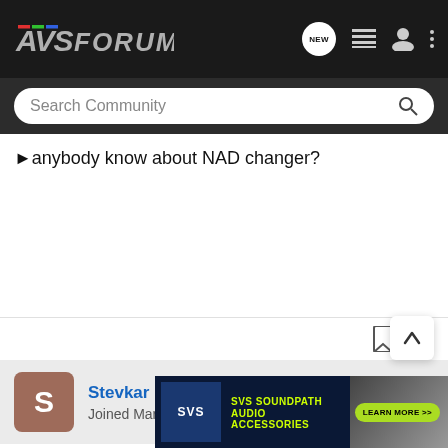AVS FORUM
Search Community
►nybody know about NAD changer?
Stevkar · Registered
Joined Mar 9, 2002 · 109 Posts
#8 · Dec 5, 2002
►Does a
[Figure (screenshot): SVS SoundPath Audio Accessories advertisement banner]